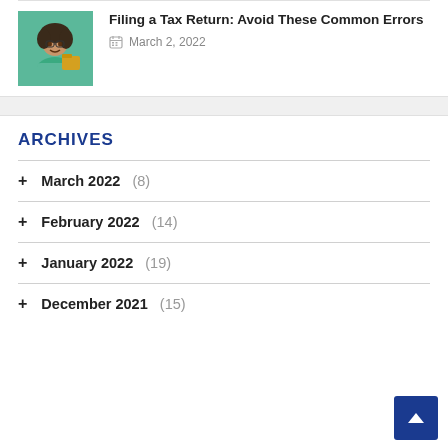[Figure (photo): Thumbnail of a person holding a folder, wearing a teal/green top, with curly hair, against a white background.]
Filing a Tax Return: Avoid These Common Errors
March 2, 2022
ARCHIVES
March 2022 (8)
February 2022 (14)
January 2022 (19)
December 2021 (15)